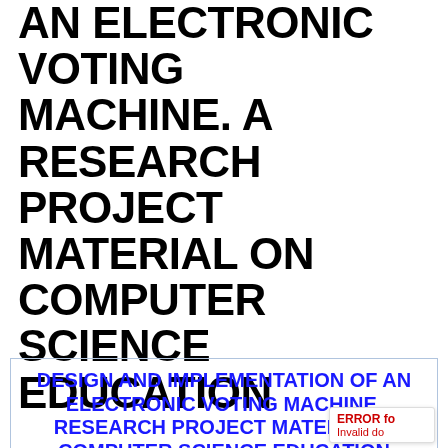AN ELECTRONIC VOTING MACHINE. A RESEARCH PROJECT MATERIAL ON COMPUTER SCIENCE EDUCATION
posted on SEPTEMBER 27, 2018
DESIGN AND IMPLEMENTATION OF AN ELECTRONIC VOTING MACHINE. RESEARCH PROJECT MATERIAL ON COMPUTER SCIENCE EDUCATION